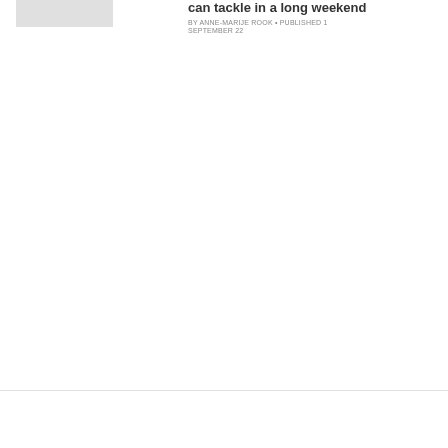[Figure (photo): Gray placeholder image in the upper left area]
can tackle in a long weekend
BY ANNE-MARIJE ROOK • PUBLISHED 1 SEPTEMBER 22